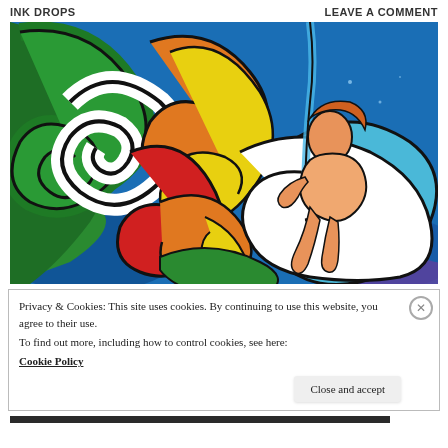INK DROPS   LEAVE A COMMENT
[Figure (illustration): Colorful psychedelic illustration of a figure sitting on flowing white fabric/cloud, surrounded by bold swirling patterns in green, orange, yellow, red, and blue, with a blue background and ocean-like waves.]
Privacy & Cookies: This site uses cookies. By continuing to use this website, you agree to their use.
To find out more, including how to control cookies, see here:
Cookie Policy
Close and accept